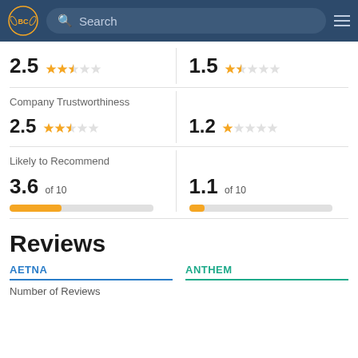[Figure (screenshot): Navigation header with BC logo, search bar, and hamburger menu on dark blue background]
2.5 (star rating, 2.5 out of 5)
1.5 (star rating, 1.5 out of 5)
Company Trustworthiness
2.5 (star rating, 2.5 out of 5)
1.2 (star rating, 1.2 out of 5)
Likely to Recommend
3.6 of 10
1.1 of 10
Reviews
AETNA
ANTHEM
Number of Reviews